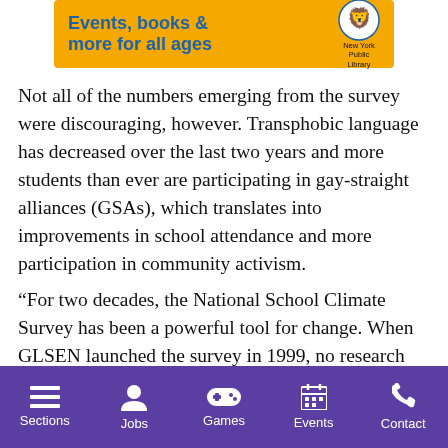[Figure (advertisement): New York Public Library advertisement banner — yellow/orange background with bold blue text 'Events, books & more for all ages' and NYPL logo]
Not all of the numbers emerging from the survey were discouraging, however. Transphobic language has decreased over the last two years and more students than ever are participating in gay-straight alliances (GSAs), which translates into improvements in school attendance and more participation in community activism.
“For two decades, the National School Climate Survey has been a powerful tool for change. When GLSEN launched the survey in 1999, no research existed that examined the
Sections  Jobs  Games  Events  Contact